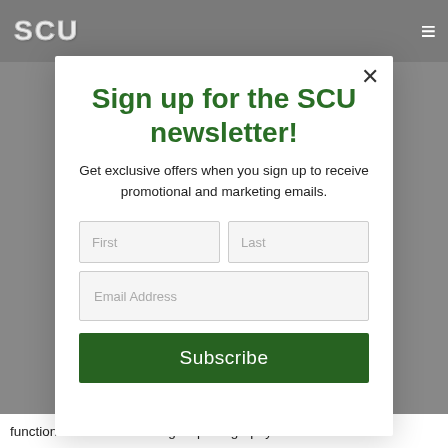[Figure (screenshot): SCU university website navigation bar with logo and hamburger menu on gray background]
Sign up for the SCU newsletter!
Get exclusive offers when you sign up to receive promotional and marketing emails.
functions that add fun to digital photography. The